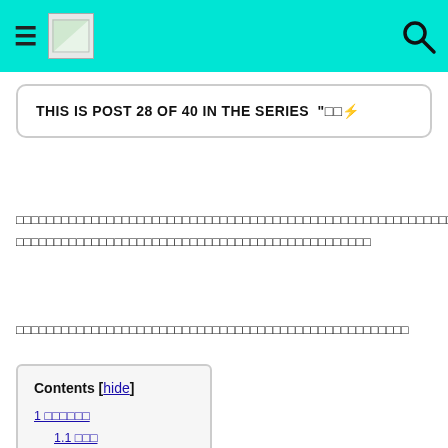THIS IS POST 28 OF 40 IN THE SERIES "□□□⚡"
□□□□□□□□□□□□□□□□□□□□□□□□□□□□□□□□□□□□□□□□□□□□□□□□□□□□□□□□□□
□□□□□□□□□□□□□□□□□□□□□□□□□□□□□□□□□□□□□□□□
| Contents | [hide] |
| --- | --- |
| 1 □□□□□□ |  |
| 1.1 □□□ |  |